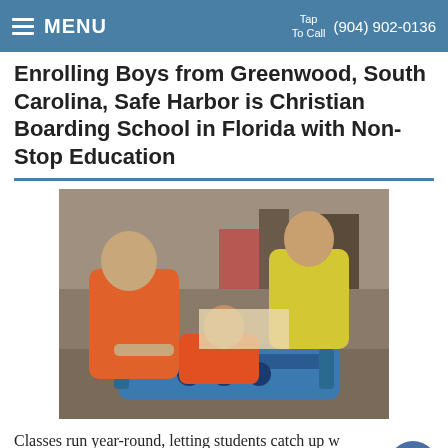MENU   Tap To Call  (904) 902-0136
Enrolling Boys from Greenwood, South Carolina, Safe Harbor is Christian Boarding School in Florida with Non-Stop Education
[Figure (photo): Three teenage boys in a workshop/garage setting working with a large engine. One boy wears an orange shirt, another wears a yellow shirt, and a third is crouching between them. Industrial equipment and shelving visible in the background.]
Classes run year-round, letting students catch up where they may be lagging academically. Boys who graduate Safe